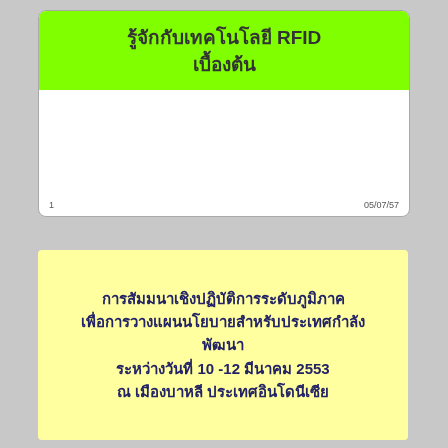[Figure (other): Presentation slide thumbnail with green title bar reading 'รู้จักกับเทคโนโลยี RFID เบื้องต้น' on white background. Footer shows page number 1 and date 05/07/57.]
การสัมมนาเชิงปฏิบัติการระดับภูมิภาค เพื่อการวางแผนนโยบายสำหรับประเทศกำลังพัฒนา ระหว่างวันที่ 10 -12 มีนาคม 2553 ณ เมืองบาหลี ประเทศอินโดนีเซีย